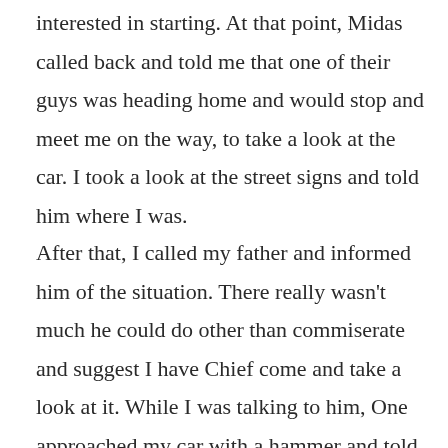interested in starting. At that point, Midas called back and told me that one of their guys was heading home and would stop and meet me on the way, to take a look at the car. I took a look at the street signs and told him where I was.
After that, I called my father and informed him of the situation. There really wasn't much he could do other than commiserate and suggest I have Chief come and take a look at it. While I was talking to him, One approached my car with a hammer and told me to open the